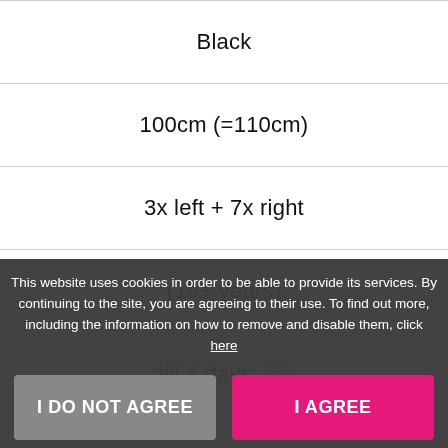Black
100cm (=110cm)
3x left + 7x right
(15+ years)
till 4 days
This website uses cookies in order to be able to provide its services. By continuing to the site, you are agreeing to their use. To find out more, including the information on how to remove and disable them, click here
I DO NOT AGREE
I AGREE